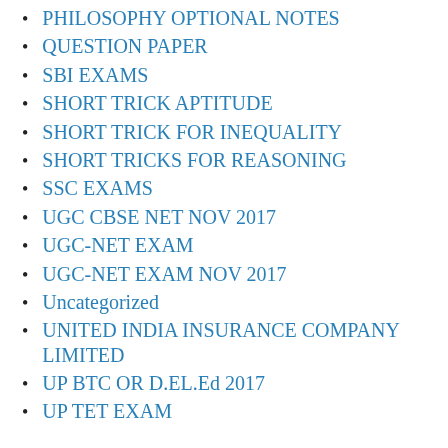PHILOSOPHY OPTIONAL NOTES
QUESTION PAPER
SBI EXAMS
SHORT TRICK APTITUDE
SHORT TRICK FOR INEQUALITY
SHORT TRICKS FOR REASONING
SSC EXAMS
UGC CBSE NET NOV 2017
UGC-NET EXAM
UGC-NET EXAM NOV 2017
Uncategorized
UNITED INDIA INSURANCE COMPANY LIMITED
UP BTC OR D.EL.Ed 2017
UP TET EXAM